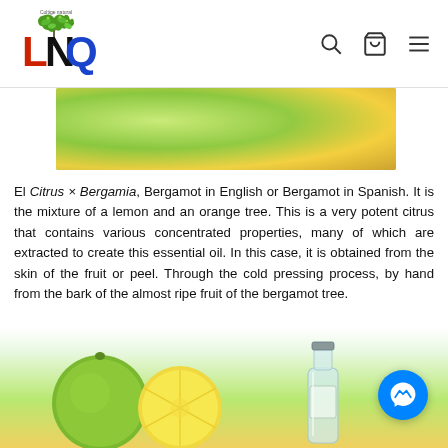LNQ - Coltige natural (logo with navigation icons: search, cart, menu)
[Figure (photo): Close-up photo of green citrus bergamot fruit on tree branches with leaves, wide banner format]
El Citrus × Bergamia, Bergamot in English or Bergamot in Spanish. It is the mixture of a lemon and an orange tree. This is a very potent citrus that contains various concentrated properties, many of which are extracted to create this essential oil. In this case, it is obtained from the skin of the fruit or peel. Through the cold pressing process, by hand from the bark of the almost ripe fruit of the bergamot tree.
Bergamot essential oil: properties and benefits.
The main
[Figure (photo): Photo of bergamot fruits (green round fruit and sliced yellow citrus) with a glass bottle of essential oil, and a Facebook Messenger floating button in bottom right corner]